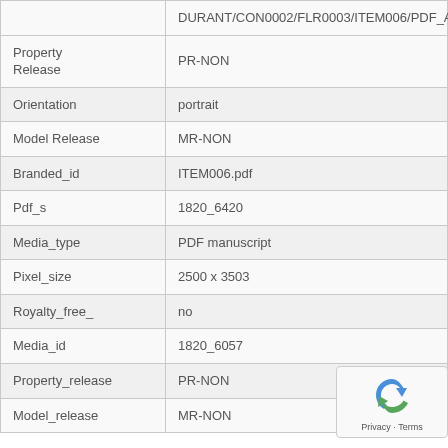| Key | Value |
| --- | --- |
|  | DURANT/CON0002/FLR0003/ITEM006/PDF_A |
| Property Release | PR-NON |
| Orientation | portrait |
| Model Release | MR-NON |
| Branded_id | ITEM006.pdf |
| Pdf_s | 1820_6420 |
| Media_type | PDF manuscript |
| Pixel_size | 2500 x 3503 |
| Royalty_free_ | no |
| Media_id | 1820_6057 |
| Property_release | PR-NON |
| Model_release | MR-NON |